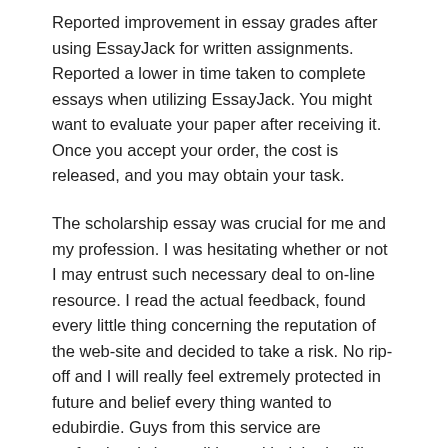Reported improvement in essay grades after using EssayJack for written assignments. Reported a lower in time taken to complete essays when utilizing EssayJack. You might want to evaluate your paper after receiving it. Once you accept your order, the cost is released, and you may obtain your task.
The scholarship essay was crucial for me and my profession. I was hesitating whether or not I may entrust such necessary deal to on-line resource. I read the actual feedback, found every little thing concerning the reputation of the web-site and decided to take a risk. No rip-off and I will really feel extremely protected in future and belief every thing wanted to edubirdie. Guys from this service are professionals in conditions with tight deadlines. They provided a mirrored image of respectable quality inside very strict cut-off dates.